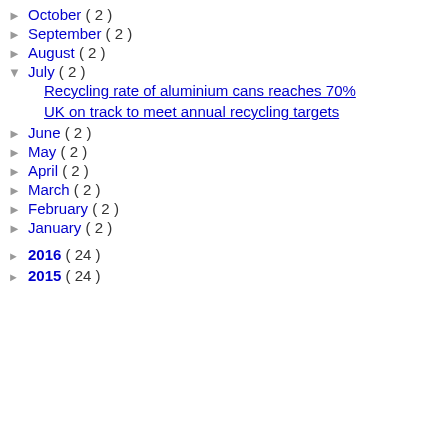► October ( 2 )
► September ( 2 )
► August ( 2 )
▼ July ( 2 )
Recycling rate of aluminium cans reaches 70%
UK on track to meet annual recycling targets
► June ( 2 )
► May ( 2 )
► April ( 2 )
► March ( 2 )
► February ( 2 )
► January ( 2 )
► 2016 ( 24 )
► 2015 ( 24 )